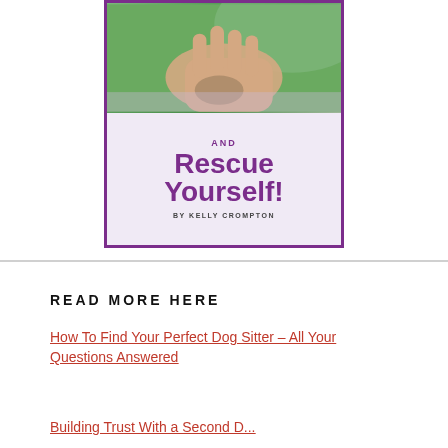[Figure (illustration): Book cover with purple border showing a hand/dog interaction photo at top, text 'AND Rescue Yourself!' in purple large font, 'BY KELLY CROMPTON' at bottom]
READ MORE HERE
How To Find Your Perfect Dog Sitter – All Your Questions Answered
Building Trust With a Second Dog...